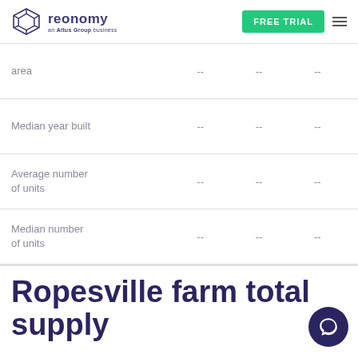reonomy — an Altus Group business | FREE TRIAL
|  |  |  |  |
| --- | --- | --- | --- |
| [Average building area] | -- | -- | -- |
| Median year built | -- | -- | -- |
| Average number of units | -- | -- | -- |
| Median number of units | -- | -- | -- |
Ropesville farm total supply